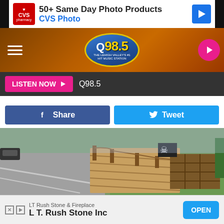[Figure (screenshot): CVS Pharmacy ad banner: '50+ Same Day Photo Products CVS Photo']
[Figure (logo): Q98.5 radio station logo on brown navigation bar with hamburger menu and pink play button]
LISTEN NOW  Q98.5
Share  Tweet
[Figure (photo): Outdoor Pirates of the Caribbean Halloween display — a wooden plank walkway with posts and rope leading to a pirate flag and wooden fence structure on a grassy area beside a road]
Photo Credit · Tony DeMatteo
Pirates of the Caribbean Ship
50 foot Pirates of the Caribbean Halloween display.
[Figure (screenshot): LT Rush Stone & Fireplace / L T. Rush Stone Inc ad with OPEN button]